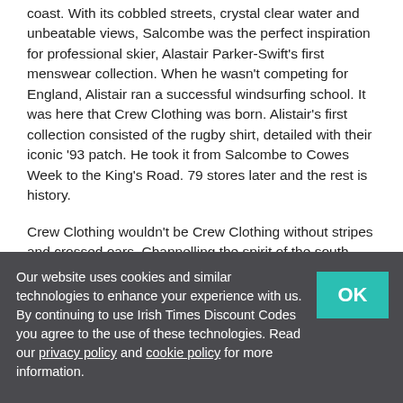coast. With its cobbled streets, crystal clear water and unbeatable views, Salcombe was the perfect inspiration for professional skier, Alastair Parker-Swift's first menswear collection. When he wasn't competing for England, Alistair ran a successful windsurfing school. It was here that Crew Clothing was born. Alistair's first collection consisted of the rugby shirt, detailed with their iconic '93 patch. He took it from Salcombe to Cowes Week to the King's Road. 79 stores later and the rest is history.
Crew Clothing wouldn't be Crew Clothing without stripes and crossed oars. Channelling the spirit of the south coast, their crossed oars are a mark of timeless British style. Being established for over 25 years, there's a few things they're known for too: rugby, blazers, cable knits, Breton tops and of course, their iconic piqué polos.
Our website uses cookies and similar technologies to enhance your experience with us. By continuing to use Irish Times Discount Codes you agree to the use of these technologies. Read our privacy policy and cookie policy for more information.